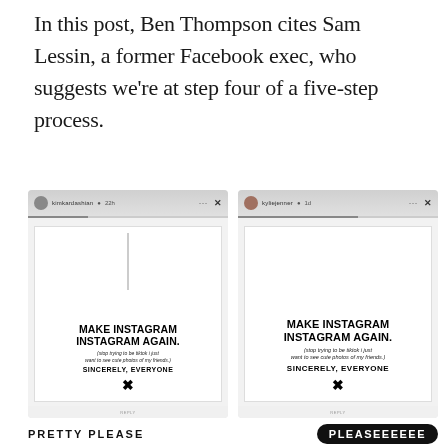In this post, Ben Thompson cites Sam Lessin, a former Facebook exec, who suggests we're at step four of a five-step process.
[Figure (screenshot): Two side-by-side Instagram story screenshots, both showing a 'MAKE INSTAGRAM INSTAGRAM AGAIN. (stop trying to be tiktok i just want to see cute photos of my friends.) SINCERELY, EVERYONE' post with an X graphic. Left screenshot is from kimkardashian, right from kyliejenner.]
PRETTY PLEASE    PLEASEEEEEE